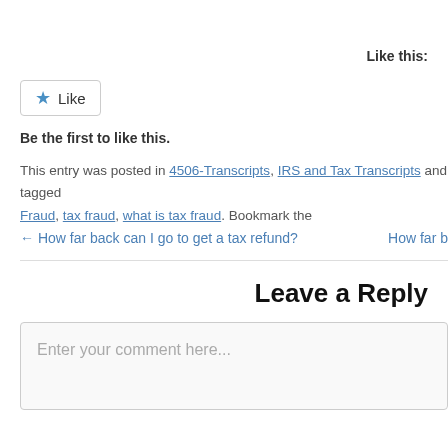Like this:
[Figure (other): Like button with blue star icon]
Be the first to like this.
This entry was posted in 4506-Transcripts, IRS and Tax Transcripts and tagged Fraud, tax fraud, what is tax fraud. Bookmark the
← How far back can I go to get a tax refund?   How far b
Leave a Reply
Enter your comment here...